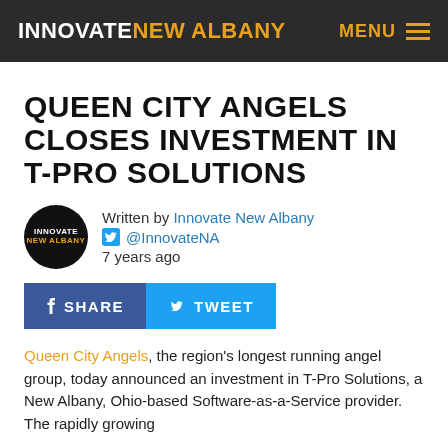INNOVATE NEW ALBANY  MENU
QUEEN CITY ANGELS CLOSES INVESTMENT IN T-PRO SOLUTIONS
Written by Innovate New Albany @InnovateNA 7 years ago
SHARE  TWEET
Queen City Angels, the region's longest running angel group, today announced an investment in T-Pro Solutions, a New Albany, Ohio-based Software-as-a-Service provider. The rapidly growing